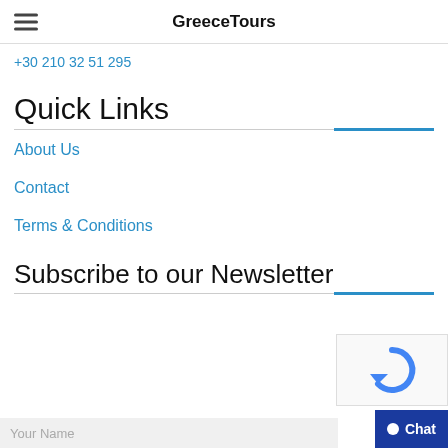GreeceTours
+30 210 32 51 295
Quick Links
About Us
Contact
Terms & Conditions
Subscribe to our Newsletter
Your Name
[Figure (other): reCAPTCHA widget and Chat button overlay in bottom-right corner]